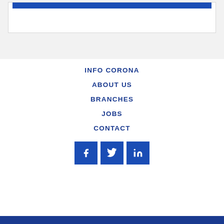[Figure (screenshot): Top section with white card containing blue banner image at top edge, on light gray background]
INFO CORONA
ABOUT US
BRANCHES
JOBS
CONTACT
[Figure (infographic): Three social media icon buttons: Facebook, Twitter, LinkedIn — all dark blue squares with white icons]